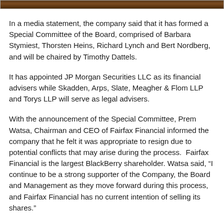[Figure (photo): Partial image strip at top of page, appears to be a photo (brown/dark tones), cropped to a narrow horizontal band.]
In a media statement, the company said that it has formed a Special Committee of the Board, comprised of Barbara Stymiest, Thorsten Heins, Richard Lynch and Bert Nordberg, and will be chaired by Timothy Dattels.
It has appointed JP Morgan Securities LLC as its financial advisers while Skadden, Arps, Slate, Meagher & Flom LLP and Torys LLP will serve as legal advisers.
With the announcement of the Special Committee, Prem Watsa, Chairman and CEO of Fairfax Financial informed the company that he felt it was appropriate to resign due to potential conflicts that may arise during the process. Fairfax Financial is the largest BlackBerry shareholder. Watsa said, “I continue to be a strong supporter of the Company, the Board and Management as they move forward during this process, and Fairfax Financial has no current intention of selling its shares.”
According to a media report, Canada Pension Plan